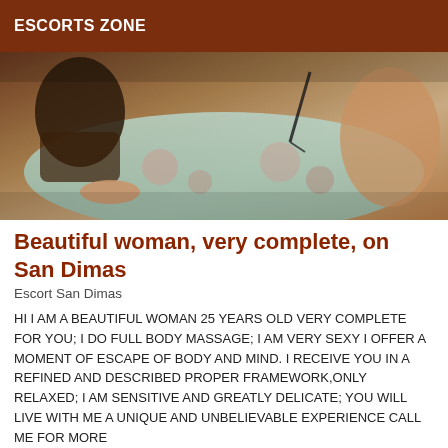ESCORTS ZONE
[Figure (photo): A woman on a bed with floral bedding, viewed from above/side angle in dim lighting]
Beautiful woman, very complete, on San Dimas
Escort San Dimas
HI I AM A BEAUTIFUL WOMAN 25 YEARS OLD VERY COMPLETE FOR YOU; I DO FULL BODY MASSAGE; I AM VERY SEXY I OFFER A MOMENT OF ESCAPE OF BODY AND MIND. I RECEIVE YOU IN A REFINED AND DESCRIBED PROPER FRAMEWORK,ONLY RELAXED; I AM SENSITIVE AND GREATLY DELICATE; YOU WILL LIVE WITH ME A UNIQUE AND UNBELIEVABLE EXPERIENCE CALL ME FOR MORE